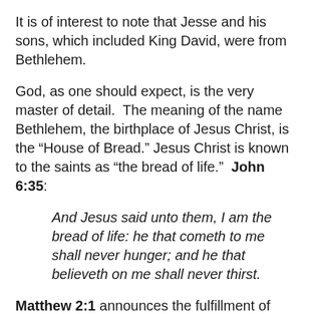It is of interest to note that Jesse and his sons, which included King David, were from Bethlehem.
God, as one should expect, is the very master of detail.  The meaning of the name Bethlehem, the birthplace of Jesus Christ, is the “House of Bread.” Jesus Christ is known to the saints as “the bread of life.”  John 6:35:
And Jesus said unto them, I am the bread of life: he that cometh to me shall never hunger; and he that believeth on me shall never thirst.
Matthew 2:1 announces the fulfillment of God’s prophecy concerning His only begotten son